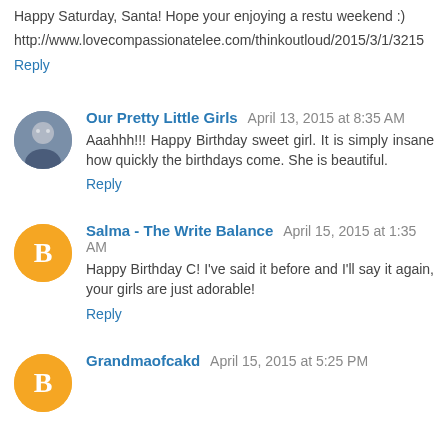Happy Saturday, Santa! Hope your enjoying a restful weekend :)
http://www.lovecompassionatelee.com/thinkoutloud/2015/3/1/3215
Reply
Our Pretty Little Girls  April 13, 2015 at 8:35 AM
Aaahhh!!! Happy Birthday sweet girl. It is simply insane how quickly the birthdays come. She is beautiful.
Reply
Salma - The Write Balance  April 15, 2015 at 1:35 AM
Happy Birthday C! I've said it before and I'll say it again, your girls are just adorable!
Reply
Grandmaofcakd  April 15, 2015 at 5:25 PM